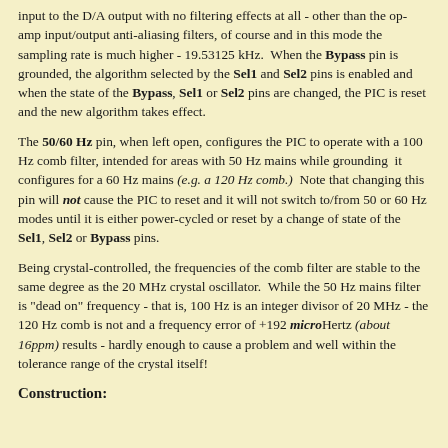input to the D/A output with no filtering effects at all - other than the op-amp input/output anti-aliasing filters, of course and in this mode the sampling rate is much higher - 19.53125 kHz. When the Bypass pin is grounded, the algorithm selected by the Sel1 and Sel2 pins is enabled and when the state of the Bypass, Sel1 or Sel2 pins are changed, the PIC is reset and the new algorithm takes effect.
The 50/60 Hz pin, when left open, configures the PIC to operate with a 100 Hz comb filter, intended for areas with 50 Hz mains while grounding it configures for a 60 Hz mains (e.g. a 120 Hz comb.) Note that changing this pin will not cause the PIC to reset and it will not switch to/from 50 or 60 Hz modes until it is either power-cycled or reset by a change of state of the Sel1, Sel2 or Bypass pins.
Being crystal-controlled, the frequencies of the comb filter are stable to the same degree as the 20 MHz crystal oscillator. While the 50 Hz mains filter is "dead on" frequency - that is, 100 Hz is an integer divisor of 20 MHz - the 120 Hz comb is not and a frequency error of +192 microHertz (about 16ppm) results - hardly enough to cause a problem and well within the tolerance range of the crystal itself!
Construction: